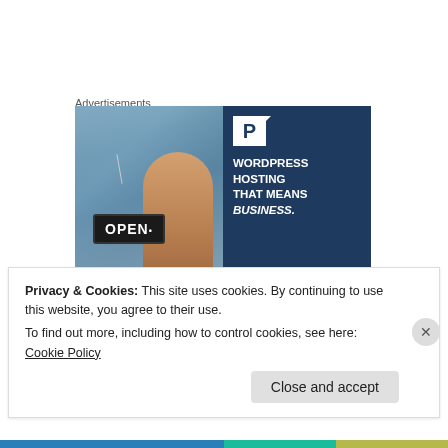Advertisements
[Figure (screenshot): WordPress hosting advertisement showing a smiling woman holding an OPEN sign, next to a dark blue panel with a P logo and text: WORDPRESS HOSTING THAT MEANS BUSINESS.]
Grey ace. I'm somewhere in the middle, which is kind of
Privacy & Cookies: This site uses cookies. By continuing to use this website, you agree to their use.
To find out more, including how to control cookies, see here: Cookie Policy
Close and accept